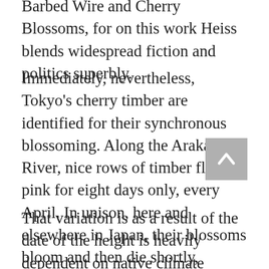Barbed Wire and Cherry Blossoms, for on this work Heiss blends widespread fiction and politics superbly.
Immediately, nevertheless, Tokyo's cherry timber are identified for their synchronous blossoming. Along the Arakawa River, nice rows of timber flip pink for eight days only, every April. In unison, here and elsewhere in Japan, their blossoms bloom and then die shortly, symbolising the wonder and fleeting transience of life. The cherry trees of up to date Japan will not be a diverse combine. They are largely only one species — the somei-yoshino, a cultivated selection with single pink blossoms that bloom on bare branches.
That variation is as a result of the date of the height is heavily dependent on native climate circumstances within the months leading up to it. Hotter, sunnier circumstances by way of the winter and early spring are